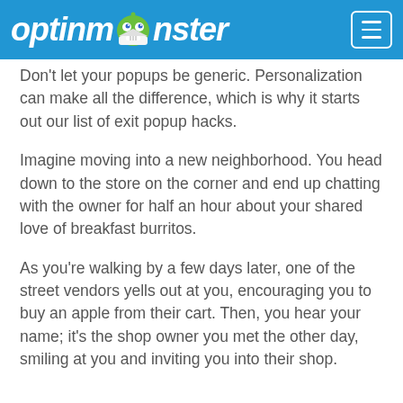optinmonster
Don't let your popups be generic. Personalization can make all the difference, which is why it starts out our list of exit popup hacks.
Imagine moving into a new neighborhood. You head down to the store on the corner and end up chatting with the owner for half an hour about your shared love of breakfast burritos.
As you're walking by a few days later, one of the street vendors yells out at you, encouraging you to buy an apple from their cart. Then, you hear your name; it's the shop owner you met the other day, smiling at you and inviting you into their shop.